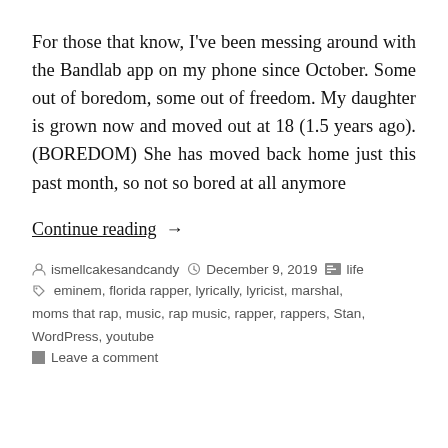For those that know, I've been messing around with the Bandlab app on my phone since October. Some out of boredom, some out of freedom. My daughter is grown now and moved out at 18 (1.5 years ago). (BOREDOM) She has moved back home just this past month, so not so bored at all anymore
Continue reading →
ismellcakesandcandy   December 9, 2019   life   eminem, florida rapper, lyrically, lyricist, marshal, moms that rap, music, rap music, rapper, rappers, Stan, WordPress, youtube   Leave a comment